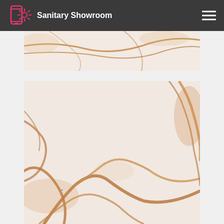Sanitary Showroom
[Figure (photo): Close-up of white marble with golden/amber veining — top partial image strip]
[Figure (photo): Close-up of white marble with golden/amber veining — larger main image showing diagonal veining patterns]